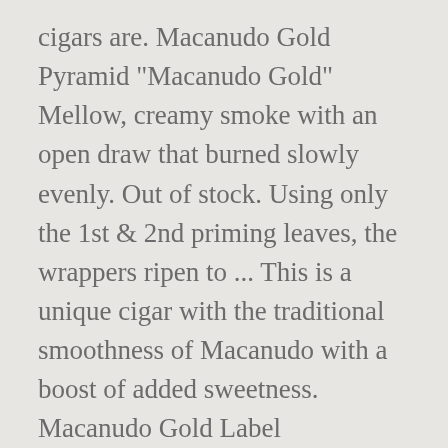cigars are. Macanudo Gold Pyramid "Macanudo Gold" Mellow, creamy smoke with an open draw that burned slowly evenly. Out of stock. Using only the 1st & 2nd priming leaves, the wrappers ripen to ... This is a unique cigar with the traditional smoothness of Macanudo with a boost of added sweetness. Macanudo Gold Label Shakespeare. Macanudo Gold Label Tudor. In fact, at one point when I went to ash the Macanudo Gold Label Gold Bar, it took quite a bit of effort to get it to break off. These elegantly thin wrappers are supple with fine veins giving this cigar a wonderful sheen and appearance. Wrapper: Connecticut Shade The Macanudo Gold Label is an extension of the popular Macanudo Cafedine. Your cigar is it...